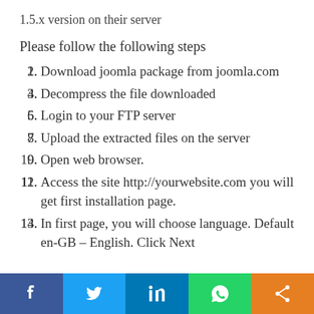1.5.x version on their server
Please follow the following steps
Download joomla package from joomla.com
Decompress the file downloaded
Login to your FTP server
Upload the extracted files on the server
Open web browser.
Access the site http://yourwebsite.com you will get first installation page.
In first page, you will choose language. Default en-GB – English. Click Next
[Figure (infographic): Social sharing bar with Facebook, Twitter, LinkedIn, WhatsApp, and share buttons]